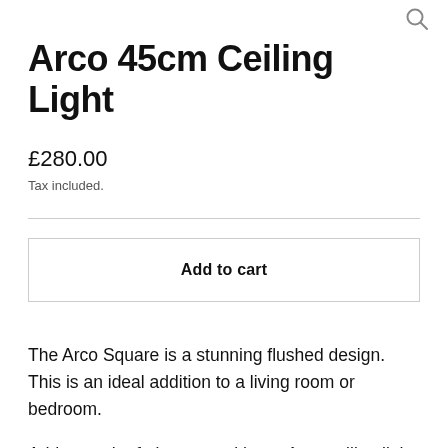[Figure (other): Search icon (magnifying glass) in top right corner]
Arco 45cm Ceiling Light
£280.00
Tax included.
Add to cart
The Arco Square is a stunning flushed design. This is an ideal addition to a living room or bedroom.
Add a touch of elegance with our Arco ceiling light.